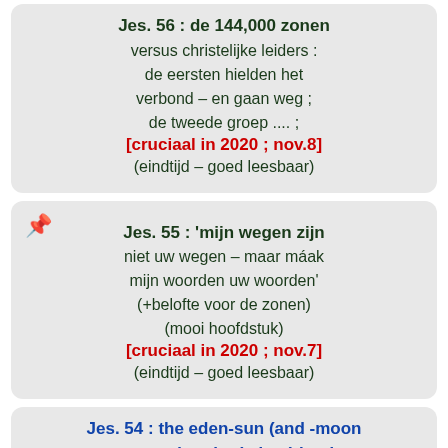Jes. 56 : de 144,000 zonen versus christelijke leiders : de eersten hielden het verbond – en gaan weg ; de tweede groep .... ; [cruciaal in 2020 ; nov.8] (eindtijd – goed leesbaar)
Jes. 55 : 'mijn wegen zijn niet uw wegen – maar máak mijn woorden uw woorden' (+belofte voor de zonen) (mooi hoofdstuk) [cruciaal in 2020 ; nov.7] (eindtijd – goed leesbaar)
Jes. 54 : the eden-sun (and -moon restored to the (eden-) land